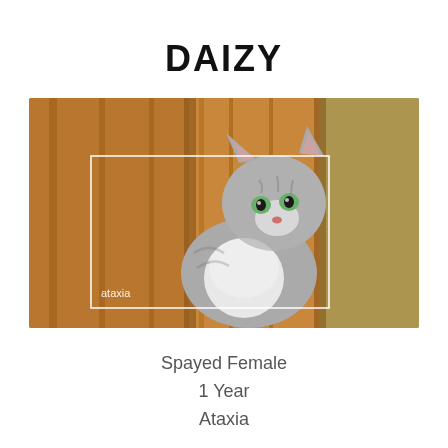DAIZY
[Figure (photo): A gray and white tabby cat with green eyes sits in front of wooden panels. A white rectangle overlay is visible on the image with the word 'ataxia' in the lower left corner.]
Spayed Female
1 Year
Ataxia